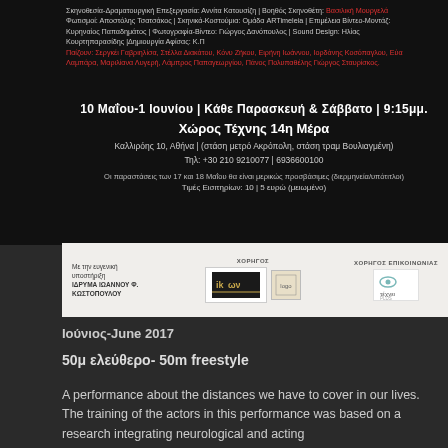[Figure (infographic): Greek theater performance poster with dark background showing production credits, dates (10 Μαΐου-1 Ιουνίου, every Friday & Saturday 9:15pm), venue (Χώρος Τέχνης 14η Μέρα), address (Καλλιρόης 10, Αθήνα), phone (+30 210 9210077 | 6936600100), accessibility note, ticket prices (10 | 5 ευρώ), and sponsor logos.]
Ιούνιος-June 2017
50μ ελεύθερο- 50m freestyle
A performance about the distances we have to cover in our lives. The training of the actors in this performance was based on a research integrating neurological and acting